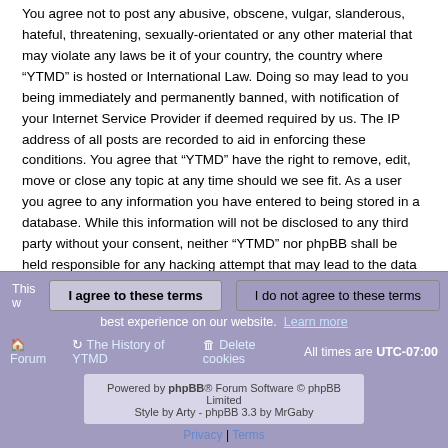You agree not to post any abusive, obscene, vulgar, slanderous, hateful, threatening, sexually-orientated or any other material that may violate any laws be it of your country, the country where “YTMD” is hosted or International Law. Doing so may lead to you being immediately and permanently banned, with notification of your Internet Service Provider if deemed required by us. The IP address of all posts are recorded to aid in enforcing these conditions. You agree that “YTMD” have the right to remove, edit, move or close any topic at any time should we see fit. As a user you agree to any information you have entered to being stored in a database. While this information will not be disclosed to any third party without your consent, neither “YTMD” nor phpBB shall be held responsible for any hacking attempt that may lead to the data being compromised.
You agree to abide by the rules of these forums set forth in the following “Rules” section: View the Rules of this Board
This website uses cookies to give you the best experience on our website. Learn more | I agree to these terms | I do not agree to these terms | Forum | The History of YTMD | Delete cookies | All times are UTC-07:00 | Powered by phpBB® Forum Software © phpBB Limited | Style by Arty - phpBB 3.3 by MrGaby | Privacy | Terms